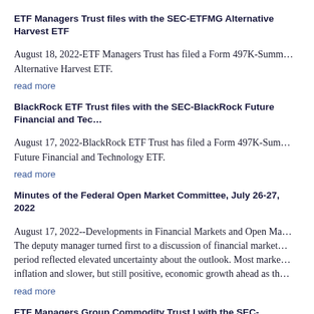ETF Managers Trust files with the SEC-ETFMG Alternative Harvest ETF
August 18, 2022-ETF Managers Trust has filed a Form 497K-Summary Prospectus for the Alternative Harvest ETF.
read more
BlackRock ETF Trust files with the SEC-BlackRock Future Financial and Technology ETF
August 17, 2022-BlackRock ETF Trust has filed a Form 497K-Summary Prospectus for the BlackRock Future Financial and Technology ETF.
read more
Minutes of the Federal Open Market Committee, July 26-27, 2022
August 17, 2022--Developments in Financial Markets and Open Market Operations The deputy manager turned first to a discussion of financial market developments. Market conditions over the intermeeting period reflected elevated uncertainty about the outlook. Most market participants continued to anticipate lower inflation and slower, but still positive, economic growth ahead as th
read more
ETF Managers Group Commodity Trust I with the SEC-Breakwave Tanker Shipping ETF
August 17, 2022--ETF Managers Group Commodity Trust I has filed a Form 497K-Summary Prospectus for the Breakwave Tanker Shipping ETF.
read more
Series Portfolios Trust files with the SEC-Adaptiv Select ETF